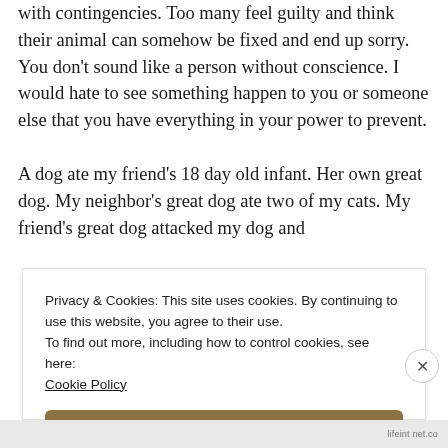with contingencies. Too many feel guilty and think their animal can somehow be fixed and end up sorry. You don't sound like a person without conscience. I would hate to see something happen to you or someone else that you have everything in your power to prevent.

A dog ate my friend's 18 day old infant. Her own great dog. My neighbor's great dog ate two of my cats. My friend's great dog attacked my dog and
Privacy & Cookies: This site uses cookies. By continuing to use this website, you agree to their use.
To find out more, including how to control cookies, see here:
Cookie Policy
Close and accept
lifeint net.co